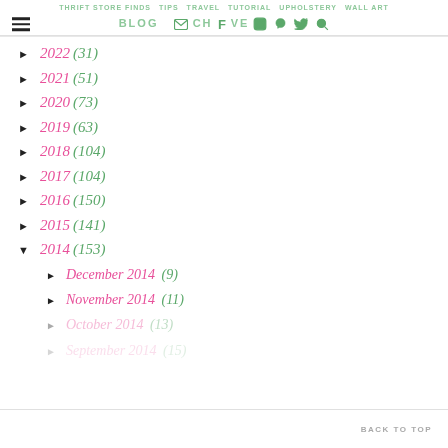THRIFT STORE FINDS  TIPS  TRAVEL  TUTORIAL  UPHOLSTERY  WALL ART
BLOG ARCHIVE [icons: email, facebook, instagram, pinterest, twitter, search]
► 2022 (31)
► 2021 (51)
► 2020 (73)
► 2019 (63)
► 2018 (104)
► 2017 (104)
► 2016 (150)
► 2015 (141)
▼ 2014 (153)
► December 2014 (9)
► November 2014 (11)
► October 2014 (13)
► September 2014 (15)
BACK TO TOP